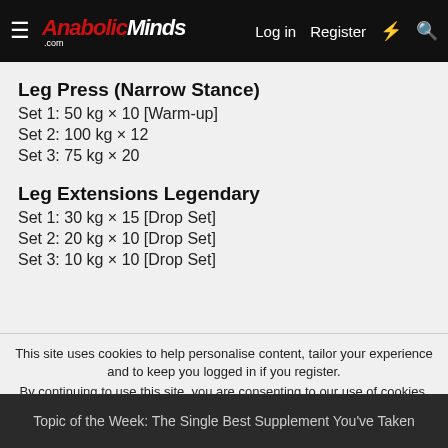AnabolicMinds.com — Log in  Register
Leg Press (Narrow Stance)
Set 1: 50 kg × 10 [Warm-up]
Set 2: 100 kg × 12
Set 3: 75 kg × 20
Leg Extensions Legendary
Set 1: 30 kg × 15 [Drop Set]
Set 2: 20 kg × 10 [Drop Set]
Set 3: 10 kg × 10 [Drop Set]
This site uses cookies to help personalise content, tailor your experience and to keep you logged in if you register. By continuing to use this site, you are consenting to our use of cookies.
Topic of the Week: The Single Best Supplement You've Taken